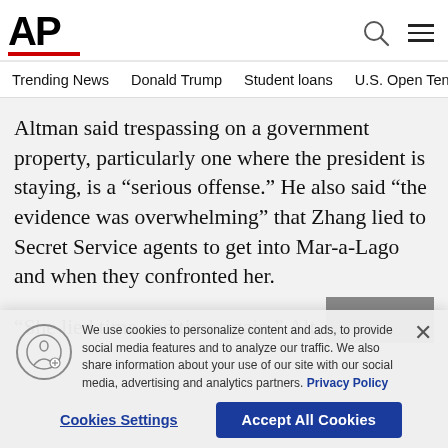[Figure (logo): AP (Associated Press) logo with red underline]
Trending News    Donald Trump    Student loans    U.S. Open Tenn
Altman said trespassing on a government property, particularly one where the president is staying, is a “serious offense.” He also said “the evidence was overwhelming” that Zhang lied to Secret Service agents to get into Mar-a-Lago and when they confronted her.
“She lied time and time again,” Alt
We use cookies to personalize content and ads, to provide social media features and to analyze our traffic. We also share information about your use of our site with our social media, advertising and analytics partners. Privacy Policy
Cookies Settings    Accept All Cookies